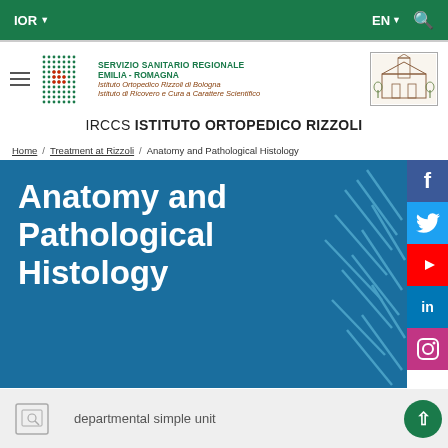IOR  EN  (search icon)
[Figure (logo): IRCCS Istituto Ortopedico Rizzoli logo with dot grid, Servizio Sanitario Regionale Emilia-Romagna text, and building illustration]
IRCCS ISTITUTO ORTOPEDICO RIZZOLI
Home / Treatment at Rizzoli / Anatomy and Pathological Histology
Anatomy and Pathological Histology
departmental simple unit